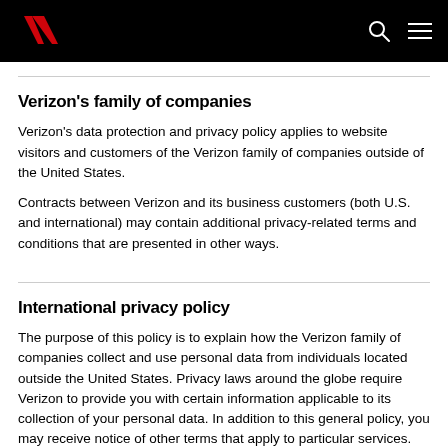Verizon logo, search icon, menu icon
Verizon's family of companies
Verizon's data protection and privacy policy applies to website visitors and customers of the Verizon family of companies outside of the United States.
Contracts between Verizon and its business customers (both U.S. and international) may contain additional privacy-related terms and conditions that are presented in other ways.
International privacy policy
The purpose of this policy is to explain how the Verizon family of companies collect and use personal data from individuals located outside the United States. Privacy laws around the globe require Verizon to provide you with certain information applicable to its collection of your personal data. In addition to this general policy, you may receive notice of other terms that apply to particular services.